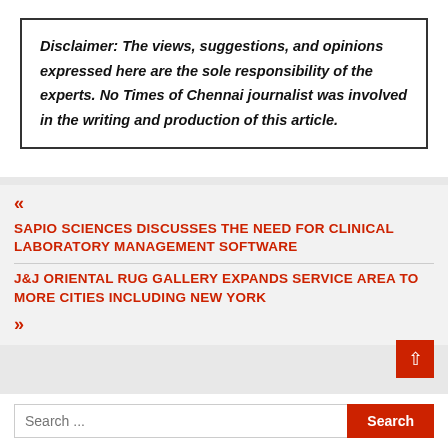Disclaimer: The views, suggestions, and opinions expressed here are the sole responsibility of the experts. No Times of Chennai journalist was involved in the writing and production of this article.
« SAPIO SCIENCES DISCUSSES THE NEED FOR CLINICAL LABORATORY MANAGEMENT SOFTWARE
J&J ORIENTAL RUG GALLERY EXPANDS SERVICE AREA TO MORE CITIES INCLUDING NEW YORK »
Search ...